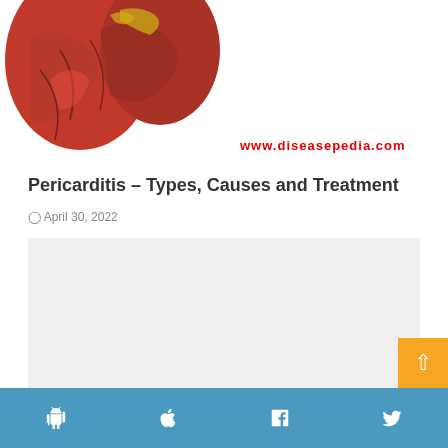[Figure (photo): Anatomical illustration of a human heart, red with detailed internal structures visible, partially cropped at top. Watermark text 'www.diseasepedia.com' in red visible at bottom right of image.]
Pericarditis – Types, Causes and Treatment
April 30, 2022
[Figure (photo): Gray placeholder image area for a second article about Pubic Lice.]
Pubic Lice – Symptoms, Risk Factors, and Treatment.
April 28, 2022
Android icon, Apple icon, Facebook icon, Twitter icon